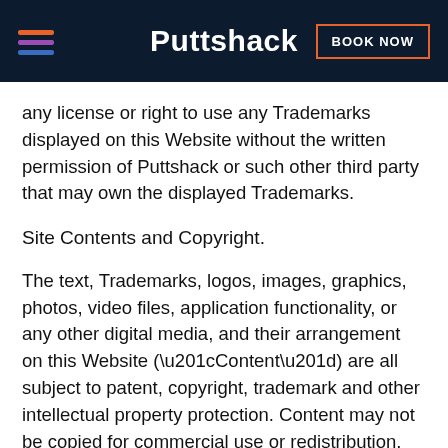Puttshack | BOOK NOW
any license or right to use any Trademarks displayed on this Website without the written permission of Puttshack or such other third party that may own the displayed Trademarks.
Site Contents and Copyright.
The text, Trademarks, logos, images, graphics, photos, video files, application functionality, or any other digital media, and their arrangement on this Website (“Content”) are all subject to patent, copyright, trademark and other intellectual property protection. Content may not be copied for commercial use or redistribution, nor may Content be modified,